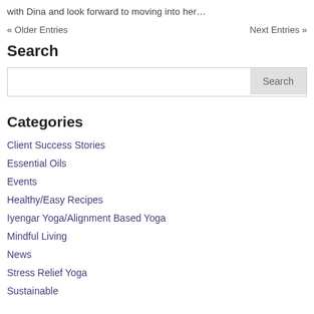with Dina and look forward to moving into her…
« Older Entries    Next Entries »
Search
[Search input box with Search button]
Categories
Client Success Stories
Essential Oils
Events
Healthy/Easy Recipes
Iyengar Yoga/Alignment Based Yoga
Mindful Living
News
Stress Relief Yoga
Sustainable